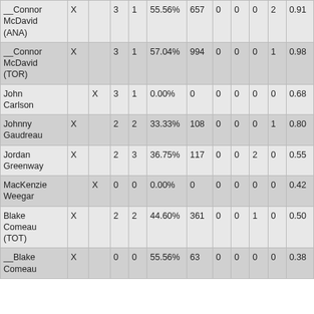| Name | X | X | N | N | % | Num | 0 | 0 | 0 | N | Dec |
| --- | --- | --- | --- | --- | --- | --- | --- | --- | --- | --- | --- |
| __Connor McDavid (ANA) | X |  | 3 | 1 | 55.56% | 657 | 0 | 0 | 0 | 2 | 0.91 |
| __Connor McDavid (TOR) | X |  | 3 | 1 | 57.04% | 994 | 0 | 0 | 0 | 1 | 0.98 |
| John Carlson |  | X | 3 | 1 | 0.00% | 0 | 0 | 0 | 0 | 0 | 0.68 |
| Johnny Gaudreau | X |  | 2 | 2 | 33.33% | 108 | 0 | 0 | 0 | 1 | 0.80 |
| Jordan Greenway | X |  | 2 | 3 | 36.75% | 117 | 0 | 0 | 2 | 0 | 0.55 |
| MacKenzie Weegar |  | X | 0 | 0 | 0.00% | 0 | 0 | 0 | 0 | 0 | 0.42 |
| Blake Comeau (TOT) | X |  | 2 | 2 | 44.60% | 361 | 0 | 0 | 1 | 0 | 0.50 |
| __Blake Comeau | X |  | 0 | 0 | 55.56% | 63 | 0 | 0 | 0 | 0 | 0.38 |